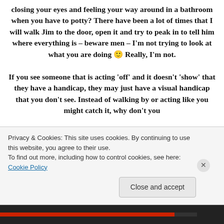closing your eyes and feeling your way around in a bathroom when you have to potty?  There have been a lot of times that I will walk Jim to the door, open it and try to peak in to tell him where everything is – beware men – I'm not trying to look at what you are doing 🙂 Really, I'm not.

If you see someone that is acting 'off' and it doesn't 'show' that they have a handicap, they may just have a visual handicap that you don't see.  Instead of walking by or acting like you might catch it, why don't you
Privacy & Cookies: This site uses cookies. By continuing to use this website, you agree to their use.
To find out more, including how to control cookies, see here: Cookie Policy